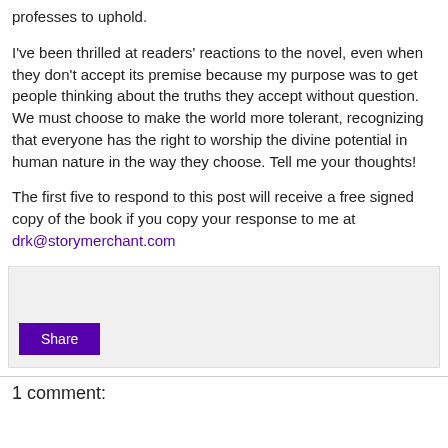professes to uphold.
I've been thrilled at readers' reactions to the novel, even when they don't accept its premise because my purpose was to get people thinking about the truths they accept without question. We must choose to make the world more tolerant, recognizing that everyone has the right to worship the divine potential in human nature in the way they choose. Tell me your thoughts!
The first five to respond to this post will receive a free signed copy of the book if you copy your response to me at drk@storymerchant.com
[Figure (other): Comment input/share area with a Share button]
1 comment: